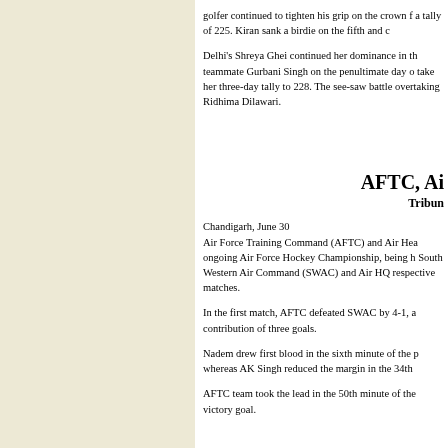golfer continued to tighten his grip on the crown f a tally of 225. Kiran sank a birdie on the fifth and c
Delhi's Shreya Ghei continued her dominance in th teammate Gurbani Singh on the penultimate day o take her three-day tally to 228. The see-saw battle overtaking Ridhima Dilawari.
AFTC, Ai
Tribune
Chandigarh, June 30
Air Force Training Command (AFTC) and Air Hea ongoing Air Force Hockey Championship, being h South Western Air Command (SWAC) and Air HQ respective matches.
In the first match, AFTC defeated SWAC by 4-1, a contribution of three goals.
Nadem drew first blood in the sixth minute of the p whereas AK Singh reduced the margin in the 34th
AFTC team took the lead in the 50th minute of the victory goal.